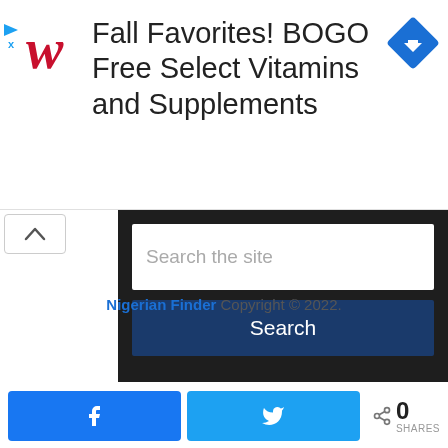[Figure (screenshot): Advertisement banner for Walgreens - Fall Favorites BOGO Free Select Vitamins and Supplements, with Walgreens cursive W logo in red and a blue diamond navigation icon]
[Figure (screenshot): Website search widget with dark background, white search input field with placeholder text 'Search the site', and a dark blue 'Search' button below. A chevron-up button visible on left side.]
Nigerian Finder Copyright © 2022.
[Figure (screenshot): Social share bar with Facebook (blue) and Twitter (light blue) share buttons, and a share count showing 0 SHARES]